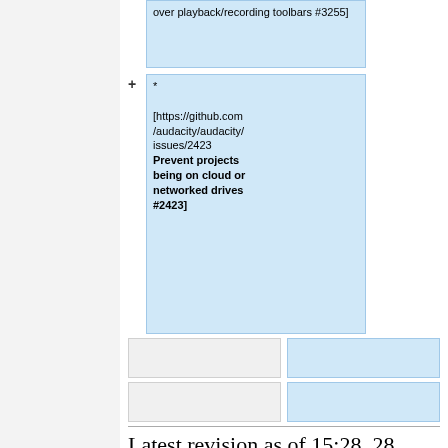|  | over playback/recording toolbars #3255] |
| + | * [https://github.com/audacity/audacity/issues/2423 Prevent projects being on cloud or networked drives #2423] |
Latest revision as of 15:28, 28 August 2022
| Contents [hide] |
| --- |
| 1  3.2 bug-watch |
| 1.1  REGRESSIONS |
| 1.2  Important |